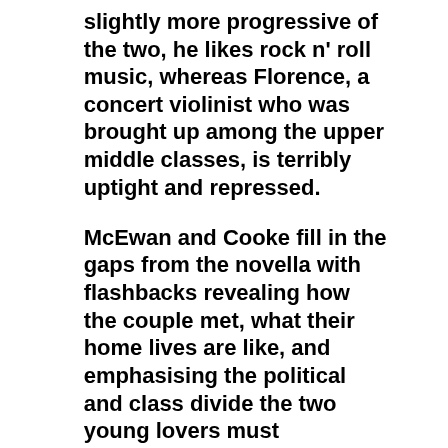slightly more progressive of the two, he likes rock n' roll music, whereas Florence, a concert violinist who was brought up among the upper middle classes, is terribly uptight and repressed.
McEwan and Cooke fill in the gaps from the novella with flashbacks revealing how the couple met, what their home lives are like, and emphasising the political and class divide the two young lovers must overcome. Florence's parents despair at her left-leaning principles, and consider Edward to be nothing more than a country bumpkin. His family are dealing with the long-term care